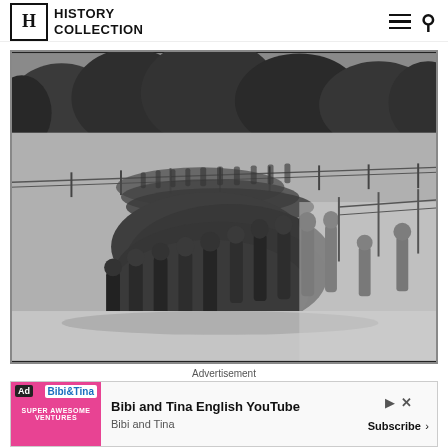HISTORY COLLECTION
[Figure (photo): Black and white historical photograph showing a large column of prisoners or soldiers marching along a road or path, with trees visible in the background and guards on the sides. The image appears to be from World War II era, possibly depicting the Bataan Death March or similar forced march.]
Advertisement
[Figure (screenshot): Advertisement banner for Bibi and Tina English YouTube channel, with pink/colorful branding on the left and subscribe button on the right.]